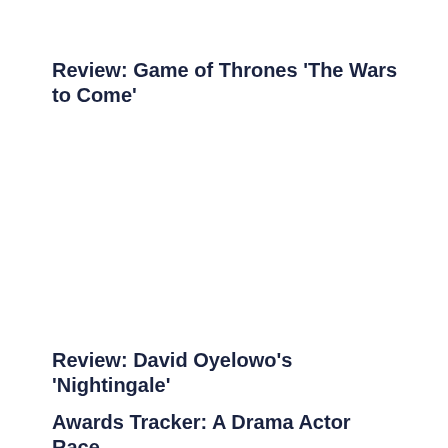Review: Game of Thrones ‘The Wars to Come’
Review: David Oyelowo’s ‘Nightingale’
Awards Tracker: A Drama Actor Race